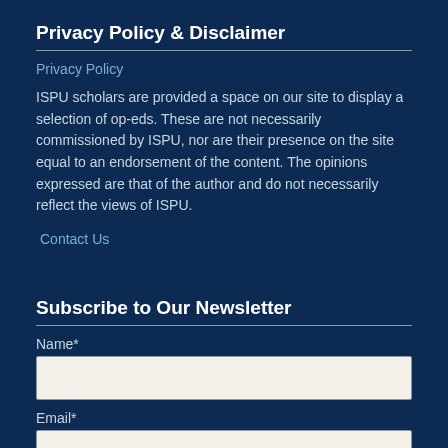Privacy Policy & Disclaimer
Privacy Policy
ISPU scholars are provided a space on our site to display a selection of op-eds. These are not necessarily commissioned by ISPU, nor are their presence on the site equal to an endorsement of the content. The opinions expressed are that of the author and do not necessarily reflect the views of ISPU.
Contact Us
Subscribe to Our Newsletter
Name*
Email*
City*